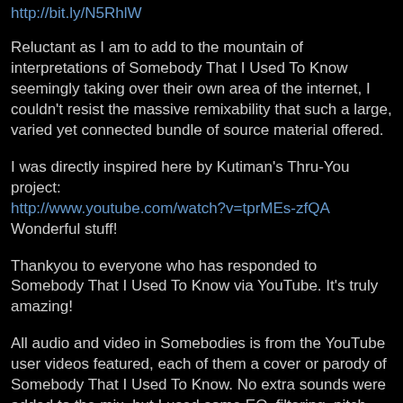http://bit.ly/N5RhlW
Reluctant as I am to add to the mountain of interpretations of Somebody That I Used To Know seemingly taking over their own area of the internet, I couldn't resist the massive remixability that such a large, varied yet connected bundle of source material offered.
I was directly inspired here by Kutiman's Thru-You project:
http://www.youtube.com/watch?v=tprMEs-zfQA
Wonderful stuff!
Thankyou to everyone who has responded to Somebody That I Used To Know via YouTube. It's truly amazing!
All audio and video in Somebodies is from the YouTube user videos featured, each of them a cover or parody of Somebody That I Used To Know. No extra sounds were added to the mix, but I used some EQ, filtering, pitch shifting and